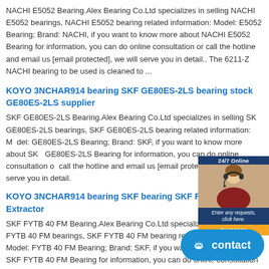NACHI E5052 Bearing.Alex Bearing Co.Ltd specializes in selling NACHI E5052 bearings, NACHI E5052 bearing related information: Model: E5052 Bearing; Brand: NACHI, if you want to know more about NACHI E5052 Bearing for information, you can do online consultation or call the hotline and email us [email protected], we will serve you in detail.. The 6211-Z NACHI bearing to be used is cleaned to ...
KOYO 3NCHAR914 bearing SKF GE80ES-2LS bearing stock GE80ES-2LS supplier
SKF GE80ES-2LS Bearing.Alex Bearing Co.Ltd specializes in selling SKF GE80ES-2LS bearings, SKF GE80ES-2LS bearing related information: Model: GE80ES-2LS Bearing; Brand: SKF, if you want to know more about SKF GE80ES-2LS Bearing for information, you can do online consultation or call the hotline and email us [email protected], we will serve you in detail.
KOYO 3NCHAR914 bearing SKF bearing SKF FYTB 40 FM - Extractor
SKF FYTB 40 FM Bearing.Alex Bearing Co.Ltd specializes in selling SKF FYTB 40 FM bearings, SKF FYTB 40 FM bearing related information: Model: FYTB 40 FM Bearing; Brand: SKF, if you want to know more about SKF FYTB 40 FM Bearing for information, you can do online consultation or call the hotline and email us [email protected], we will serve you in detail.
KOYO 3NCHAR914 bearing...
[Figure (other): Chat widget with '24/7 Online' header, woman with headset photo, 'Enter any requests, click here.' text and 'Quotation' button]
[Figure (other): Blue rounded contact button with chat icon and 'contact' text]